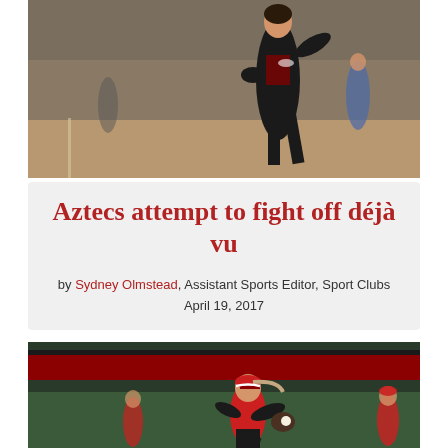[Figure (photo): Softball player in black and red SDSU uniform pitching or throwing during a game on a dirt infield]
Aztecs attempt to fight off déjà vu
by Sydney Olmstead, Assistant Sports Editor, Sport Clubs
April 19, 2017
[Figure (photo): SDSU softball player fielding a ball in the outfield with red and black uniform, another player visible in background]